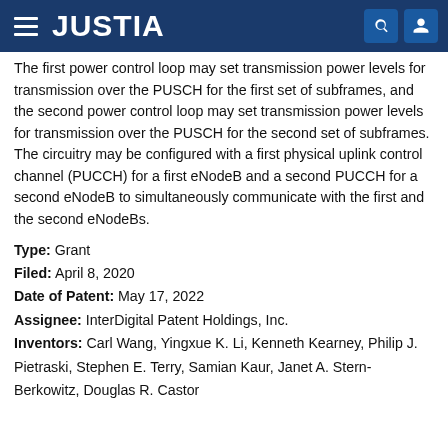JUSTIA
The first power control loop may set transmission power levels for transmission over the PUSCH for the first set of subframes, and the second power control loop may set transmission power levels for transmission over the PUSCH for the second set of subframes. The circuitry may be configured with a first physical uplink control channel (PUCCH) for a first eNodeB and a second PUCCH for a second eNodeB to simultaneously communicate with the first and the second eNodeBs.
Type: Grant
Filed: April 8, 2020
Date of Patent: May 17, 2022
Assignee: InterDigital Patent Holdings, Inc.
Inventors: Carl Wang, Yingxue K. Li, Kenneth Kearney, Philip J. Pietraski, Stephen E. Terry, Samian Kaur, Janet A. Stern-Berkowitz, Douglas R. Castor